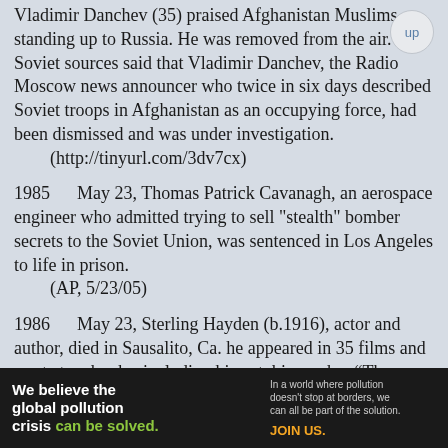Vladimir Danchev (35) praised Afghanistan Muslims standing up to Russia. He was removed from the air. Soviet sources said that Vladimir Danchev, the Radio Moscow news announcer who twice in six days described Soviet troops in Afghanistan as an occupying force, had been dismissed and was under investigation. (http://tinyurl.com/3dv7cx)
1985     May 23, Thomas Patrick Cavanagh, an aerospace engineer who admitted trying to sell "stealth" bomber secrets to the Soviet Union, was sentenced in Los Angeles to life in prison. (AP, 5/23/05)
1986     May 23, Sterling Hayden (b.1916), actor and author, died in Sausalito, Ca. he appeared in 35 films and wrote two books, including his autobiography: “The Wanderer.” (http://movies.aol.com/celebrity/sterling-hayden/31197/biography)(SSFC, 5/22/11, DB p.46)
[Figure (infographic): Pure Earth advertisement banner: 'We believe the global pollution crisis can be solved.' with tagline 'In a world where pollution doesn't stop at borders, we can all be part of the solution. JOIN US.' and Pure Earth logo.]